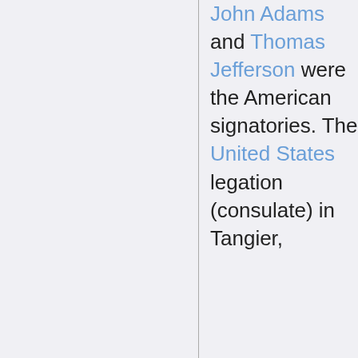John Adams and Thomas Jefferson were the American signatories. The United States legation (consulate) in Tangier,